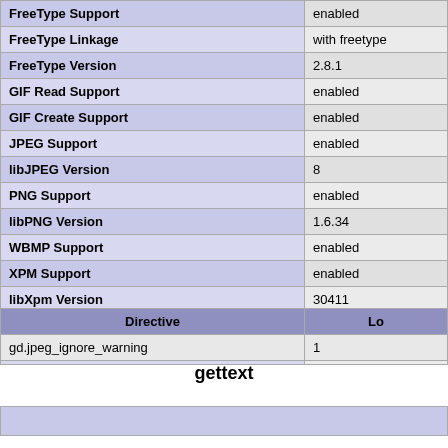| FreeType Support | enabled |
| FreeType Linkage | with freetype |
| FreeType Version | 2.8.1 |
| GIF Read Support | enabled |
| GIF Create Support | enabled |
| JPEG Support | enabled |
| libJPEG Version | 8 |
| PNG Support | enabled |
| libPNG Version | 1.6.34 |
| WBMP Support | enabled |
| XPM Support | enabled |
| libXpm Version | 30411 |
| XBM Support | enabled |
| WebP Support | enabled |
| Directive | Lo |
| --- | --- |
| gd.jpeg_ignore_warning | 1 |
gettext